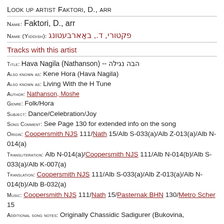Look up artist Faktori, D., arr
Name: Faktori, D., arr
Name (Yiddish): פקטורי, ד., באַארבעטונג
Tracks with this artist
Title: Hava Nagila (Nathanson) -- הבה נגילה
Also known as: Kene Hora (Hava Nagila)
Also known as: Living With the H Tune
Author: Nathanson, Moshe
Genre: Folk/Hora
Subject: Dance/Celebration/Joy
Song Comment: See Page 130 for extended info on the song
Origin: Coopersmith NJS 111/Nath 15/Alb S-033(a)/Alb Z-013(a)/Alb N-014(a)
Transliteration: Alb N-014(a)/Coopersmith NJS 111/Alb N-014(b)/Alb S-033(a)/Alb K-007(a)
Translation: Coopersmith NJS 111/Alb S-033(a)/Alb Z-013(a)/Alb N-014(b)/Alb B-032(a)
Music: Coopersmith NJS 111/Nath 15/Pasternak BHN 130/Metro Scher 15
Additional song notes: Originally Chassidic Sadigurer (Bukovina, Poland)...